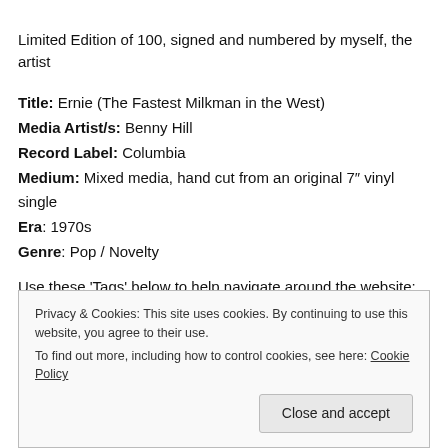Limited Edition of 100, signed and numbered by myself, the artist
Title: Ernie (The Fastest Milkman in the West)
Media Artist/s: Benny Hill
Record Label: Columbia
Medium: Mixed media, hand cut from an original 7" vinyl single
Era: 1970s
Genre: Pop / Novelty
Use these 'Tags' below to help navigate around the website:
Privacy & Cookies: This site uses cookies. By continuing to use this website, you agree to their use.
To find out more, including how to control cookies, see here: Cookie Policy
Close and accept